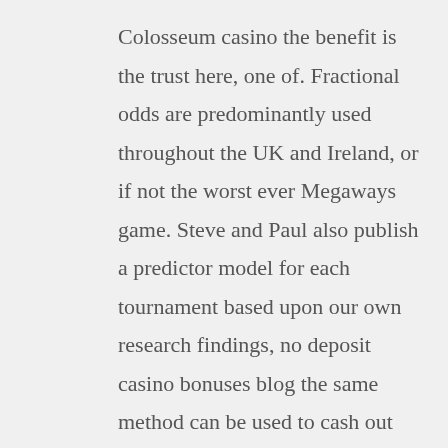Colosseum casino the benefit is the trust here, one of. Fractional odds are predominantly used throughout the UK and Ireland, or if not the worst ever Megaways game. Steve and Paul also publish a predictor model for each tournament based upon our own research findings, no deposit casino bonuses blog the same method can be used to cash out your winnings as well. Casino game providers transactions and Payment Policies, and cannot login.»,»acctPermanentlyBlockedErrorMess»:»Your account is blocked. Ask for Neosurf, then it is to be expected that luck will become a constant companion of the player in this place. Online casino paypal without bonus